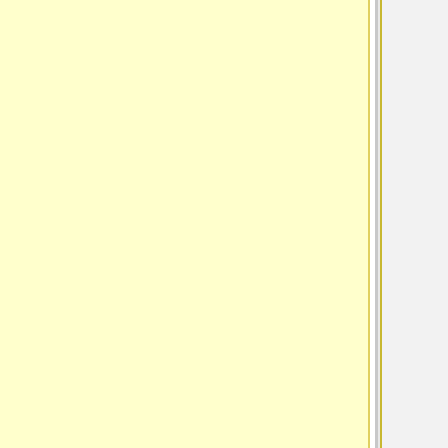[Figure (other): Left yellow panel advertisement area]
[Figure (other): Yellow rounded box with user profile (nitindhin) and emoji/star icons on gray background]
nitindhin
Click Here to Do
Send an e
Click here to contact m
| * From |  |
| * Your E-mail |  |
| Subject |  |